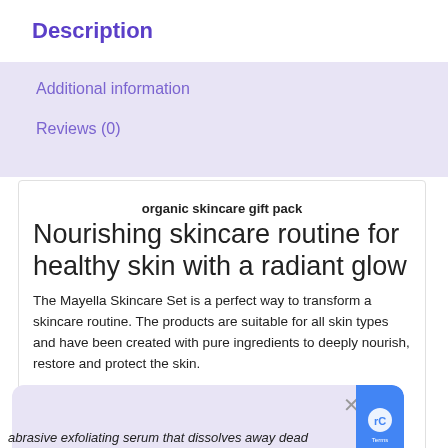Description
Additional information
Reviews (0)
organic skincare gift pack
Nourishing skincare routine for healthy skin with a radiant glow
The Mayella Skincare Set is a perfect way to transform a skincare routine. The products are suitable for all skin types and have been created with pure ingredients to deeply nourish, restore and protect the skin.
[Figure (other): Popup/dialog overlay with close button and reCAPTCHA badge]
abrasive exfoliating serum that dissolves away dead